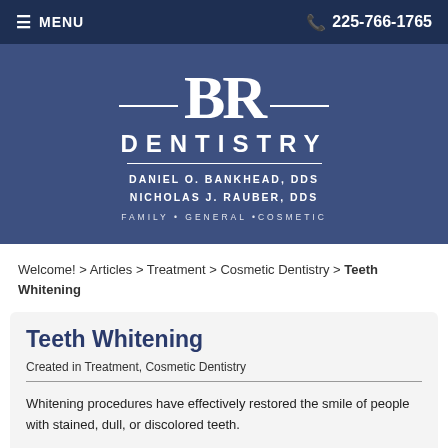≡ MENU   📞 225-766-1765
[Figure (logo): BR Dentistry logo with horizontal lines flanking the letters BR, below it DENTISTRY in large bold caps, then DANIEL O. BANKHEAD, DDS / NICHOLAS J. RAUBER, DDS, then FAMILY • GENERAL • COSMETIC]
Welcome! > Articles > Treatment > Cosmetic Dentistry > Teeth Whitening
Teeth Whitening
Created in Treatment, Cosmetic Dentistry
Whitening procedures have effectively restored the smile of people with stained, dull, or discolored teeth.
The darker tissue of your teeth, the dentin, can become exposed as